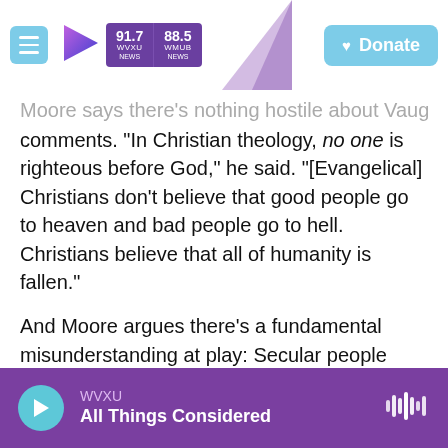91.7 WVXU NEWS | 88.5 WMUB NEWS | Donate
Moore says there's nothing hostile about Vaught's comments. "In Christian theology, no one is righteous before God," he said. "[Evangelical] Christians don't believe that good people go to heaven and bad people go to hell. Christians believe that all of humanity is fallen."
And Moore argues there's a fundamental misunderstanding at play: Secular people often assume that beliefs are "just ideas and opinions" that can shift. But for religious people, he says, "we don't believe that we are constructing our faith. We believe that it's been handed to us by God."
WVXU — All Things Considered